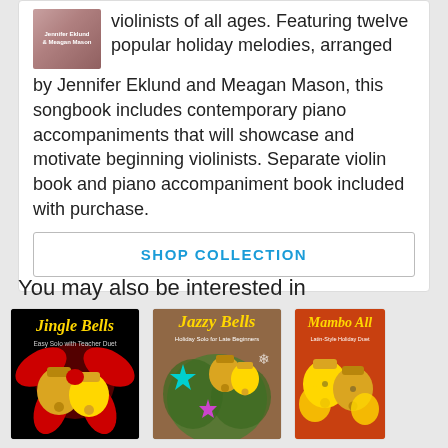violinists of all ages. Featuring twelve popular holiday melodies, arranged by Jennifer Eklund and Meagan Mason, this songbook includes contemporary piano accompaniments that will showcase and motivate beginning violinists. Separate violin book and piano accompaniment book included with purchase.
SHOP COLLECTION
You may also be interested in
[Figure (photo): Jingle Bells Easy Solo with Teacher Duet book cover - black background with gold and red bells]
[Figure (photo): Jazzy Bells Holiday Solo for Late Beginners book cover - festive bells with colorful stars]
[Figure (photo): Mambo All Latin-Style Holiday Duet book cover - gold bells on red background]